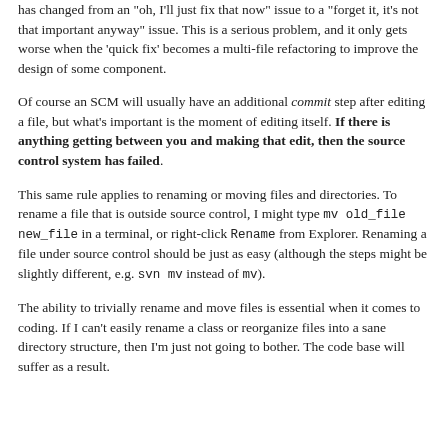has changed from an "oh, I'll just fix that now" issue to a "forget it, it's not that important anyway" issue. This is a serious problem, and it only gets worse when the 'quick fix' becomes a multi-file refactoring to improve the design of some component.
Of course an SCM will usually have an additional commit step after editing a file, but what's important is the moment of editing itself. If there is anything getting between you and making that edit, then the source control system has failed.
This same rule applies to renaming or moving files and directories. To rename a file that is outside source control, I might type mv old_file new_file in a terminal, or right-click Rename from Explorer. Renaming a file under source control should be just as easy (although the steps might be slightly different, e.g. svn mv instead of mv).
The ability to trivially rename and move files is essential when it comes to coding. If I can't easily rename a class or reorganize files into a sane directory structure, then I'm just not going to bother. The code base will suffer as a result.